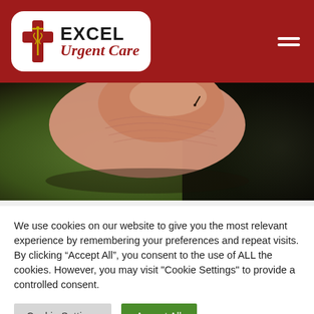[Figure (logo): Excel Urgent Care logo with red medical cross and caduceus symbol on white rounded rectangle background, on dark red header bar with hamburger menu icon]
[Figure (photo): Close-up macro photo of a human fingertip with a small splinter or thorn embedded in the skin, against a blurred green and dark background]
We use cookies on our website to give you the most relevant experience by remembering your preferences and repeat visits. By clicking “Accept All”, you consent to the use of ALL the cookies. However, you may visit "Cookie Settings" to provide a controlled consent.
Cookie Settings
Accept All